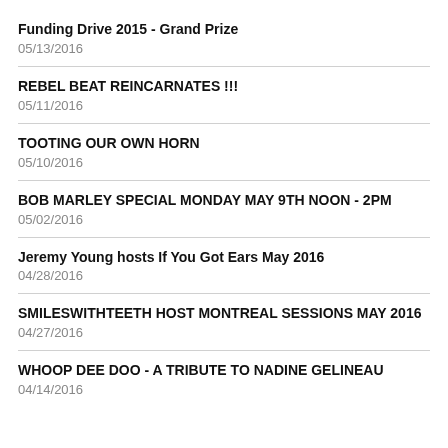Funding Drive 2015 - Grand Prize
05/13/2016
REBEL BEAT REINCARNATES !!!
05/11/2016
TOOTING OUR OWN HORN
05/10/2016
BOB MARLEY SPECIAL MONDAY MAY 9TH NOON - 2PM
05/02/2016
Jeremy Young hosts If You Got Ears May 2016
04/28/2016
SMILESWITHTEETH HOST MONTREAL SESSIONS MAY 2016
04/27/2016
WHOOP DEE DOO - A TRIBUTE TO NADINE GELINEAU
04/14/2016